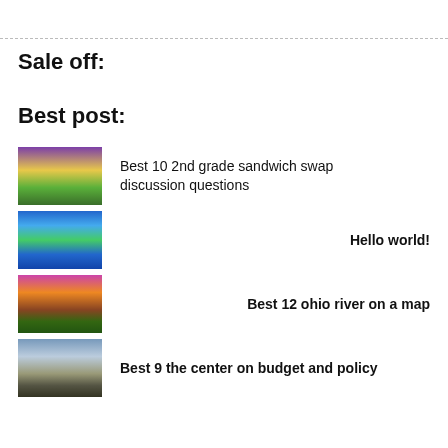Sale off:
Best post:
Best 10 2nd grade sandwich swap discussion questions
Hello world!
Best 12 ohio river on a map
Best 9 the center on budget and policy